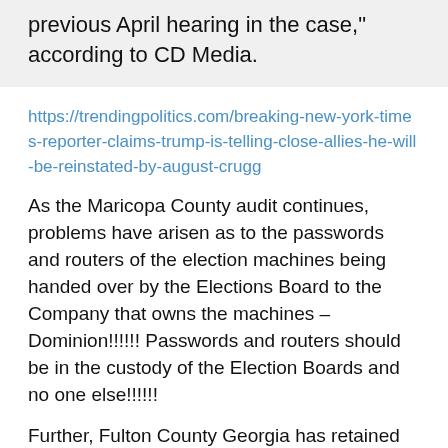previous April hearing in the case," according to CD Media.
https://trendingpolitics.com/breaking-new-york-times-reporter-claims-trump-is-telling-close-allies-he-will-be-reinstated-by-august-crugg
As the Maricopa County audit continues, problems have arisen as to the passwords and routers of the election machines being handed over by the Elections Board to the Company that owns the machines – Dominion!!!!!! Passwords and routers should be in the custody of the Election Boards and no one else!!!!!!
Further, Fulton County Georgia has retained criminal lawyers to fight against the Patriots of Georgia!!!!!!Do these morons even know what they are about!?!?!? Who